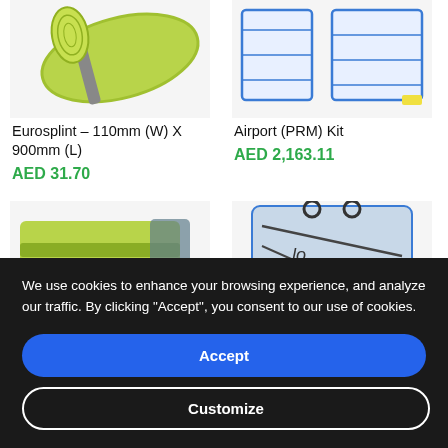[Figure (photo): Product image of Eurosplint rolled green/grey mat]
[Figure (photo): Product image of Airport (PRM) Kit - blue and white foldable stretcher/panels]
Eurosplint – 110mm (W) X 900mm (L)
AED 31.70
Airport (PRM) Kit
AED 2,163.11
[Figure (photo): Partial product image bottom left - green mat/pad]
[Figure (photo): Partial product image bottom right - grey/blue folded bag]
We use cookies to enhance your browsing experience, and analyze our traffic. By clicking "Accept", you consent to our use of cookies.
Accept
Customize